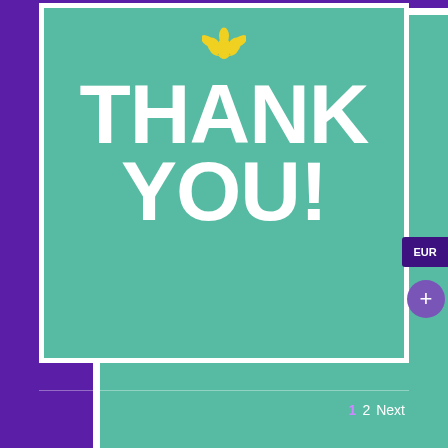[Figure (screenshot): A screenshot of a presentation slide or greeting card with a teal/mint green background and white border, showing a yellow lotus/flower logo at the top and large white bold text reading 'THANK YOU!' The card is displayed on a purple background. On the right edge there is a 'EUR' button and a '+' button. At the bottom there is a pagination showing '1 2 Next'.]